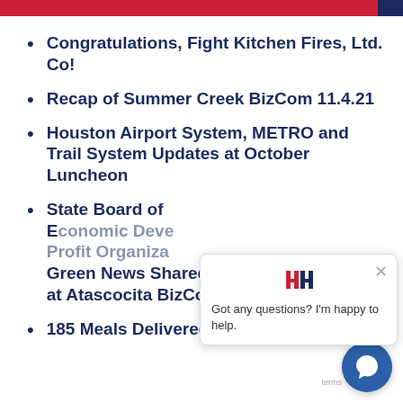Congratulations, Fight Kitchen Fires, Ltd. Co!
Recap of Summer Creek BizCom 11.4.21
Houston Airport System, METRO and Trail System Updates at October Luncheon
State Board of [Education?] Economic Development Profit Organization Green News Shared at Atascocita BizCom
185 Meals Delivered to First Responders